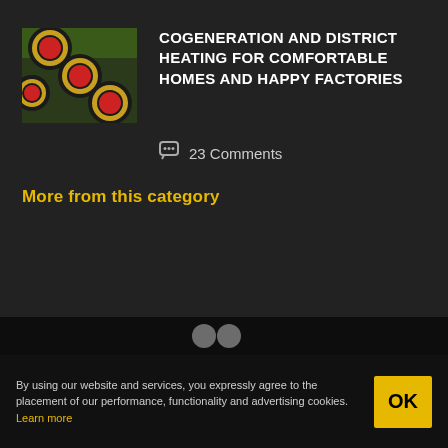[Figure (photo): Insulated district heating pipes with red end caps, black outer casing, yellow insulation visible]
COGENERATION AND DISTRICT HEATING FOR COMFORTABLE HOMES AND HAPPY FACTORIES
💬 23 Comments
More from this category
By using our website and services, you expressly agree to the placement of our performance, functionality and advertising cookies. Learn more